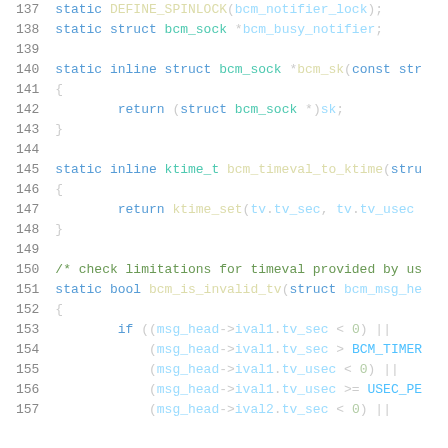Source code listing, lines 137-157, C kernel code with syntax highlighting
137   static DEFINE_SPINLOCK(bcm_notifier_lock);
138   static struct bcm_sock *bcm_busy_notifier;
139
140   static inline struct bcm_sock *bcm_sk(const str
141   {
142           return (struct bcm_sock *)sk;
143   }
144
145   static inline ktime_t bcm_timeval_to_ktime(stru
146   {
147           return ktime_set(tv.tv_sec, tv.tv_usec
148   }
149
150   /* check limitations for timeval provided by us
151   static bool bcm_is_invalid_tv(struct bcm_msg_he
152   {
153           if ((msg_head->ival1.tv_sec < 0) ||
154               (msg_head->ival1.tv_sec > BCM_TIMER
155               (msg_head->ival1.tv_usec < 0) ||
156               (msg_head->ival1.tv_usec >= USEC_PE
157               (msg_head->ival2.tv_sec < 0) ||